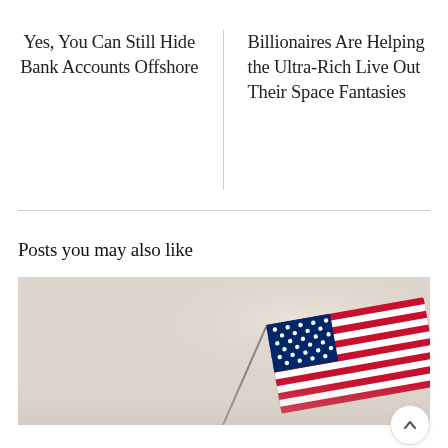Yes, You Can Still Hide Bank Accounts Offshore
Billionaires Are Helping the Ultra-Rich Live Out Their Space Fantasies
Posts you may also like
[Figure (photo): A waving American flag photographed against a light beige/grey sky background, viewed from below at an angle. The flag shows red and white stripes and the blue canton with white stars.]